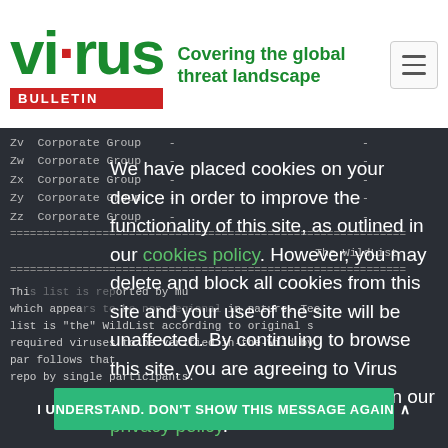[Figure (logo): Virus Bulletin logo with red dot, green 'virus' text, red 'BULLETIN' bar, and green tagline 'Covering the global threat landscape']
Zv  Corporate Group    -                           -
Zw  Corporate Group    -                           -
Zx  Corporate Group    -                           -
Zy  Corporate Group    -                           -
Zz  Corporate Group    -                           -
============================================================
                                        The WildList
============================================================
This list is reported by mu which appears to be non-regional in nature. Tec list is "the" WildList according to original s required viruses to be verified in-the-Wild by par                         follows that repo              by single participants.
We have placed cookies on your device in order to improve the functionality of this site, as outlined in our cookies policy. However, you may delete and block all cookies from this site and your use of the site will be unaffected. By continuing to browse this site, you are agreeing to Virus Bulletin's use of data as outlined in our privacy policy.
I UNDERSTAND. DON'T SHOW THIS MESSAGE AGAIN
After
viruses are deleted from the system.